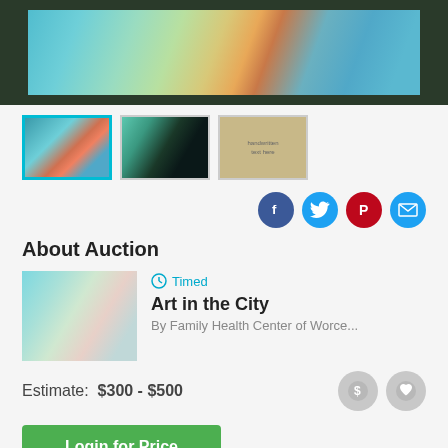[Figure (photo): Colorful abstract painting in dark frame, cropped top portion showing teal, green, yellow, pink hues]
[Figure (photo): Three thumbnail images of artwork: first selected with cyan border showing abstract colorful painting, second showing dark framed artwork, third showing back/label of framed artwork]
[Figure (infographic): Social sharing icons: Facebook (blue), Twitter (light blue), Pinterest (red), Email (blue)]
About Auction
[Figure (photo): Small thumbnail of teal/blue abstract painting for auction listing]
Timed
Art in the City
By Family Health Center of Worce...
Estimate:  $300 - $500
Login for Price